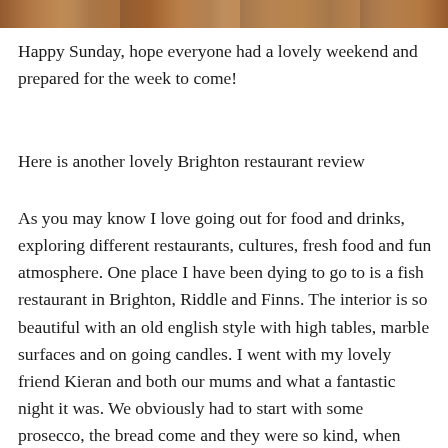[Figure (photo): Cropped photo of food, partially visible at the very top of the page]
Happy Sunday, hope everyone had a lovely weekend and prepared for the week to come!
Here is another lovely Brighton restaurant review
As you may know I love going out for food and drinks, exploring different restaurants, cultures, fresh food and fun atmosphere. One place I have been dying to go to is a fish restaurant in Brighton, Riddle and Finns. The interior is so beautiful with an old english style with high tables, marble surfaces and on going candles. I went with my lovely friend Kieran and both our mums and what a fantastic night it was. We obviously had to start with some prosecco, the bread come and they were so kind, when they were aware I was gluten free, they came with buckwheat flour mini pancakes, which were so delicious and light.